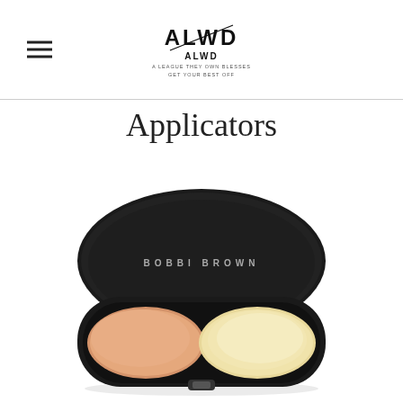ALWD / Applicators — navigation header with logo
Applicators
[Figure (photo): Bobbi Brown concealer duo compact with two round pans — one peach/pink tone and one pale yellow tone — in a black oval case with 'BOBBI BROWN' text on the lid, photographed on white background.]